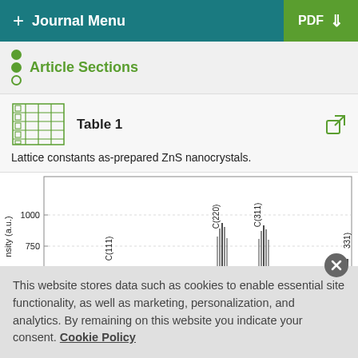+ Journal Menu   PDF ↓
Article Sections
Table 1
Lattice constants as-prepared ZnS nanocrystals.
[Figure (continuous-plot): Partial XRD pattern showing intensity (a.u.) vs. 2-theta angle with peaks labeled C(111), C(220), C(311), and partially visible (331). Y-axis visible range: 500–1000. Peaks at various 2-theta positions with sharp narrow peaks.]
This website stores data such as cookies to enable essential site functionality, as well as marketing, personalization, and analytics. By remaining on this website you indicate your consent. Cookie Policy